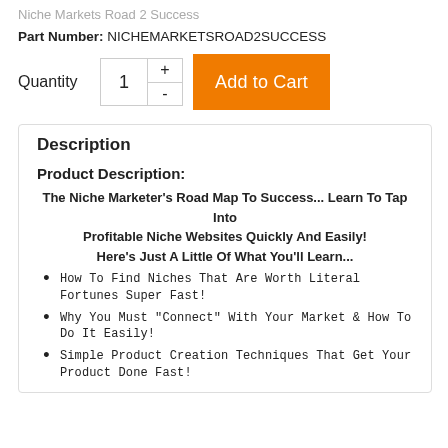Niche Markets Road 2 Success
Part Number: NICHEMARKETSROAD2SUCCESS
Quantity  1  +  -  Add to Cart
Description
Product Description:
The Niche Marketer's Road Map To Success... Learn To Tap Into Profitable Niche Websites Quickly And Easily! Here's Just A Little Of What You'll Learn...
How To Find Niches That Are Worth Literal Fortunes Super Fast!
Why You Must "Connect" With Your Market & How To Do It Easily!
Simple Product Creation Techniques That Get Your Product Done Fast!